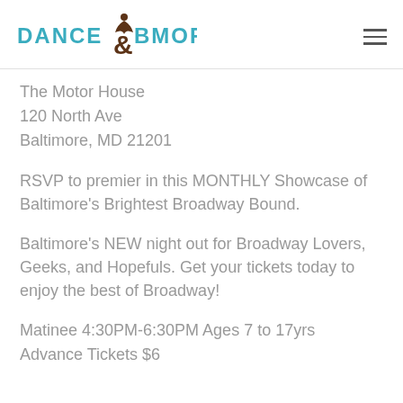DANCE & BMORE
The Motor House
120 North Ave
Baltimore, MD 21201
RSVP to premier in this MONTHLY Showcase of Baltimore's Brightest Broadway Bound.
Baltimore's NEW night out for Broadway Lovers, Geeks, and Hopefuls. Get your tickets today to enjoy the best of Broadway!
Matinee 4:30PM-6:30PM Ages 7 to 17yrs
Advance Tickets $6